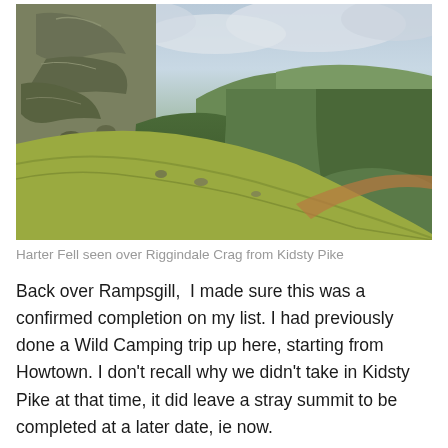[Figure (photo): Landscape photograph showing Harter Fell seen over Riggindale Crag from Kidsty Pike. Rocky crags with green grass slopes in the foreground, a deep valley in the middle, and rolling hills under a cloudy sky in the background.]
Harter Fell seen over Riggindale Crag from Kidsty Pike
Back over Rampsgill,  I made sure this was a confirmed completion on my list. I had previously done a Wild Camping trip up here, starting from Howtown. I don't recall why we didn't take in Kidsty Pike at that time, it did leave a stray summit to be completed at a later date, ie now.